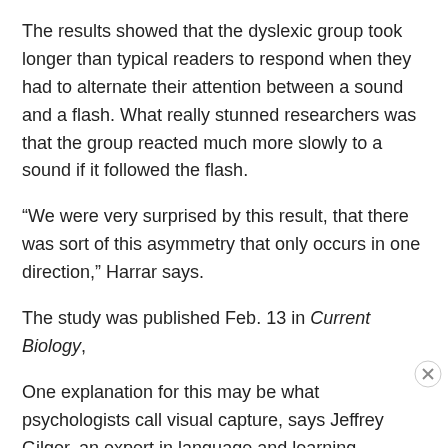The results showed that the dyslexic group took longer than typical readers to respond when they had to alternate their attention between a sound and a flash. What really stunned researchers was that the group reacted much more slowly to a sound if it followed the flash.
“We were very surprised by this result, that there was sort of this asymmetry that only occurs in one direction,” Harrar says.
The study was published Feb. 13 in Current Biology,
One explanation for this may be what psychologists call visual capture, says Jeffrey Gilger, an expert in language and learning disabilities at the University of California
Advertisements
[Figure (other): DuckDuckGo advertisement banner: orange left panel with text 'Search, browse, and email with more privacy. All in One Free App' and dark right panel with DuckDuckGo logo.]